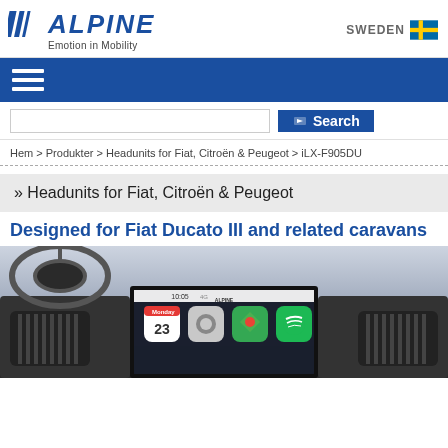ALPINE — Emotion in Mobility | SWEDEN
Search
Hem > Produkter > Headunits for Fiat, Citroën & Peugeot > iLX-F905DU
» Headunits for Fiat, Citroën & Peugeot
Designed for Fiat Ducato III and related caravans
[Figure (photo): Alpine iLX-F905DU head unit installed in a Fiat Ducato III dashboard, showing Apple CarPlay interface with calendar app on Monday the 23rd, Google Maps, and Spotify icons on a large touchscreen]